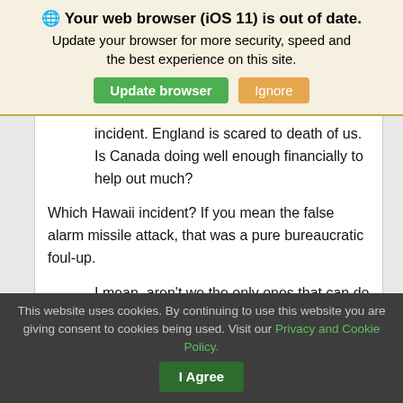🌐 Your web browser (iOS 11) is out of date.
Update your browser for more security, speed and the best experience on this site.
Update browser | Ignore
incident. England is scared to death of us. Is Canada doing well enough financially to help out much?
Which Hawaii incident? If you mean the false alarm missile attack, that was a pure bureaucratic foul-up.
I mean, aren't we the only ones that can do whatever we
This website uses cookies. By continuing to use this website you are giving consent to cookies being used. Visit our Privacy and Cookie Policy.